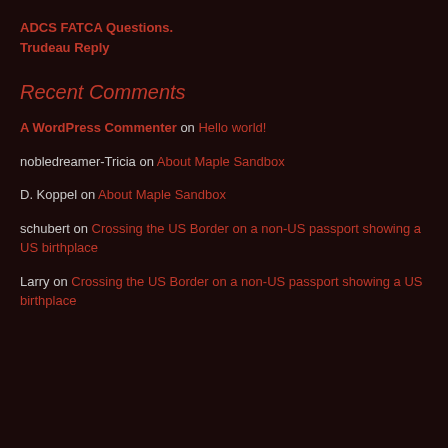ADCS FATCA Questions. Trudeau Reply
Recent Comments
A WordPress Commenter on Hello world!
nobledreamer-Tricia on About Maple Sandbox
D. Koppel on About Maple Sandbox
schubert on Crossing the US Border on a non-US passport showing a US birthplace
Larry on Crossing the US Border on a non-US passport showing a US birthplace